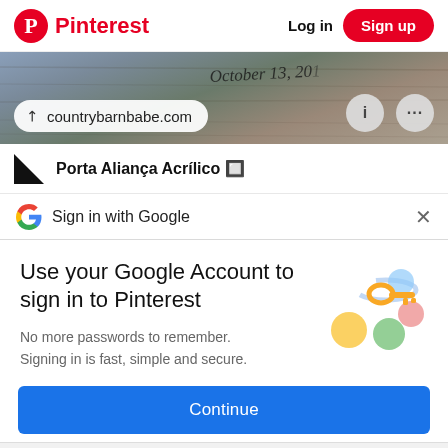Pinterest | Log in | Sign up
[Figure (screenshot): A wooden surface photo with 'October 13, 20...' handwritten text. Shows a URL bar with 'countrybarnbabe.com' and two icon buttons (info and more options).]
Porta Aliança Acrílico
Sign in with Google
Use your Google Account to sign in to Pinterest
No more passwords to remember. Signing in is fast, simple and secure.
[Figure (illustration): Google colorful key and shield icons illustration]
Continue